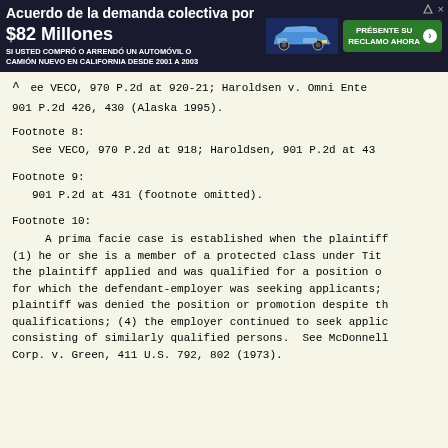[Figure (other): Advertisement banner in Spanish for a $82 million class action lawsuit settlement for people who bought or leased a new car or truck in California from 2001 to 2003. Includes a car image and a green 'PRÉSENTE SU RECLAMO AHORA' button.]
^ ee VECO, 970 P.2d at 920-21; Haroldsen v. Omni Ente
901 P.2d 426, 430 (Alaska 1995).
Footnote 8:
See VECO, 970 P.2d at 918; Haroldsen, 901 P.2d at 43
Footnote 9:
901 P.2d at 431 (footnote omitted).
Footnote 10:
A prima facie case is established when the plaintiff (1) he or she is a member of a protected class under Tit the plaintiff applied and was qualified for a position o for which the defendant-employer was seeking applicants; plaintiff was denied the position or promotion despite th qualifications; (4) the employer continued to seek appli consisting of similarly qualified persons.  See McDonnel Corp. v. Green, 411 U.S. 792, 802 (1973).